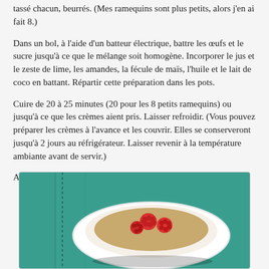tassé chacun, beurrés. (Mes ramequins sont plus petits, alors j'en ai fait 8.)
Dans un bol, à l'aide d'un batteur électrique, battre les œufs et le sucre jusqu'à ce que le mélange soit homogène. Incorporer le jus et le zeste de lime, les amandes, la fécule de maïs, l'huile et le lait de coco en battant. Répartir cette préparation dans les pots.
Cuire de 20 à 25 minutes (20 pour les 8 petits ramequins) ou jusqu'à ce que les crèmes aient pris. Laisser refroidir. (Vous pouvez préparer les crèmes à l'avance et les couvrir. Elles se conserveront jusqu'à 2 jours au réfrigérateur. Laisser revenir à la température ambiante avant de servir.)
Au moment de servir, parsemer du reste des framboises.
[Figure (photo): A white ramekin dish containing a baked cream/custard topped with fresh red raspberries, placed on a teal/green cloth background.]